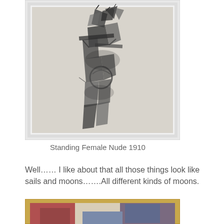[Figure (photo): Photograph of a framed artwork 'Standing Female Nude 1910' — a cubist/abstract charcoal drawing with geometric angular forms suggesting a standing figure, in a white frame, displayed on a wall.]
Standing Female Nude 1910
Well…… I like about that all those things look like sails and moons…….All different kinds of moons.
[Figure (photo): Photograph of a framed painting with a gold/tan frame showing abstract geometric shapes in muted tones of red, blue-grey, and beige/white — partially visible, cropped at bottom of page.]